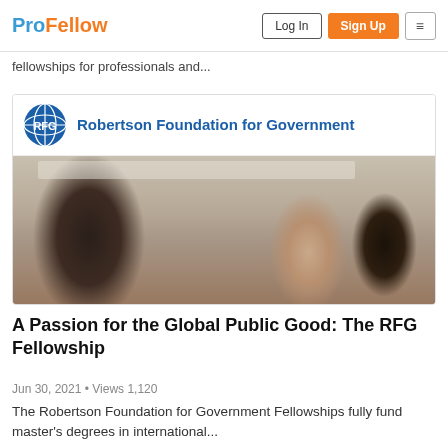ProFellow | Log In | Sign Up
fellowships for professionals and...
[Figure (screenshot): Robertson Foundation for Government logo banner with globe icon and organization name in blue text, followed by a photo of people networking at a conference event]
A Passion for the Global Public Good: The RFG Fellowship
Jun 30, 2021 • Views 1,120
The Robertson Foundation for Government Fellowships fully fund master's degrees in international...